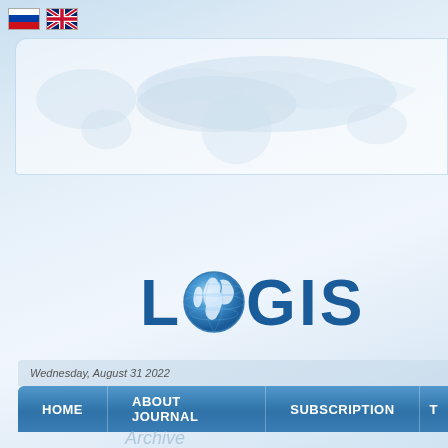[Figure (screenshot): Website header screenshot for LOGISTIKA journal, showing Russian and UK flags, a world map background header box, the LOGISTIKA logo with globe replacing the O, navigation bar with HOME, ABOUT JOURNAL, SUBSCRIPTION menu items, date Wednesday August 31 2022, and faint Archive text at bottom.]
Wednesday, August 31 2022
HOME  ABOUT JOURNAL  SUBSCRIPTION  T